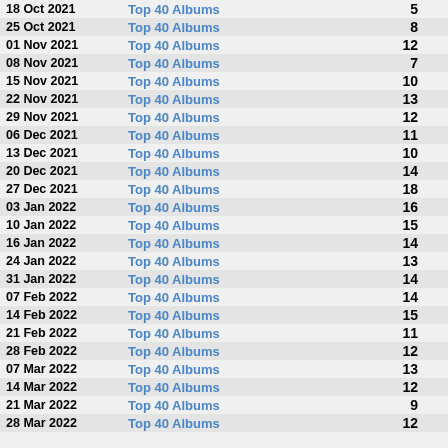| Date | Chart | Position |
| --- | --- | --- |
| 18 Oct 2021 | Top 40 Albums | 5 |
| 25 Oct 2021 | Top 40 Albums | 8 |
| 01 Nov 2021 | Top 40 Albums | 12 |
| 08 Nov 2021 | Top 40 Albums | 7 |
| 15 Nov 2021 | Top 40 Albums | 10 |
| 22 Nov 2021 | Top 40 Albums | 13 |
| 29 Nov 2021 | Top 40 Albums | 12 |
| 06 Dec 2021 | Top 40 Albums | 11 |
| 13 Dec 2021 | Top 40 Albums | 10 |
| 20 Dec 2021 | Top 40 Albums | 14 |
| 27 Dec 2021 | Top 40 Albums | 18 |
| 03 Jan 2022 | Top 40 Albums | 16 |
| 10 Jan 2022 | Top 40 Albums | 15 |
| 16 Jan 2022 | Top 40 Albums | 14 |
| 24 Jan 2022 | Top 40 Albums | 13 |
| 31 Jan 2022 | Top 40 Albums | 14 |
| 07 Feb 2022 | Top 40 Albums | 14 |
| 14 Feb 2022 | Top 40 Albums | 15 |
| 21 Feb 2022 | Top 40 Albums | 11 |
| 28 Feb 2022 | Top 40 Albums | 12 |
| 07 Mar 2022 | Top 40 Albums | 13 |
| 14 Mar 2022 | Top 40 Albums | 12 |
| 21 Mar 2022 | Top 40 Albums | 9 |
| 28 Mar 2022 | Top 40 Albums | 12 |